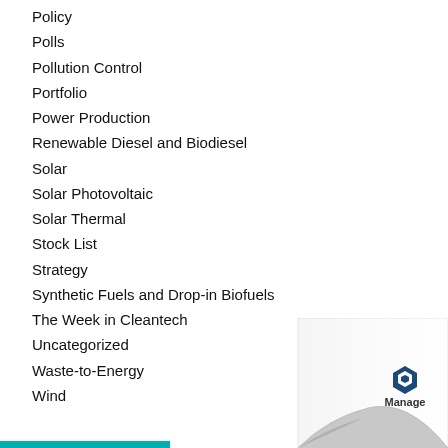Policy
Polls
Pollution Control
Portfolio
Power Production
Renewable Diesel and Biodiesel
Solar
Solar Photovoltaic
Solar Thermal
Stock List
Strategy
Synthetic Fuels and Drop-in Biofuels
The Week in Cleantech
Uncategorized
Waste-to-Energy
Wind
[Figure (logo): Page curl decoration with Manage logo in bottom right corner]
[Figure (other): Teal/cyan horizontal bar at bottom left]